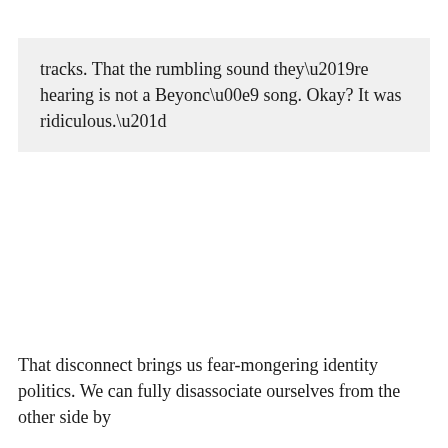tracks. That the rumbling sound they’re hearing is not a Beyoncé song. Okay? It was ridiculous.”
That disconnect brings us fear-mongering identity politics. We can fully disassociate ourselves from the other side by